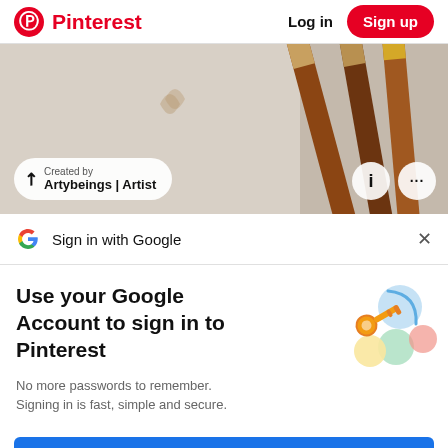Pinterest  Log in  Sign up
[Figure (photo): Close-up photo of colored pencils and light background with a creator attribution badge reading 'Created by Artybeings | Artist' and two circular icon buttons (i and ...)]
Sign in with Google
Use your Google Account to sign in to Pinterest
[Figure (illustration): Google account illustration showing a golden key with colorful circular icons representing Google sign-in]
No more passwords to remember. Signing in is fast, simple and secure.
Continue